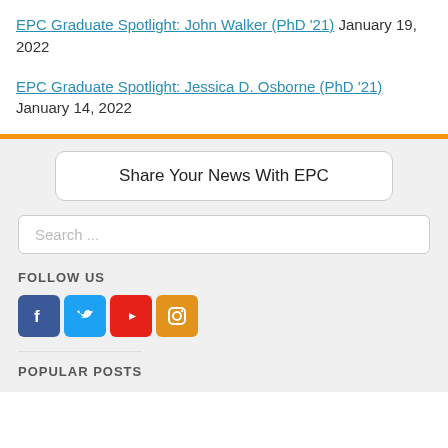EPC Graduate Spotlight: John Walker (PhD '21) January 19, 2022
EPC Graduate Spotlight: Jessica D. Osborne (PhD '21) January 14, 2022
[Figure (other): Orange horizontal divider bar]
Share Your News With EPC
Search ...
FOLLOW US
[Figure (other): Social media icons: Facebook (blue), Twitter (light blue), YouTube (red), Instagram (orange)]
POPULAR POSTS